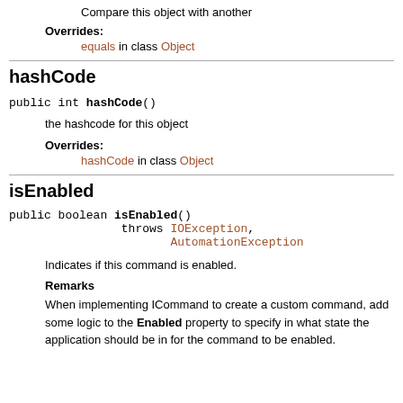Compare this object with another
Overrides:
equals in class Object
hashCode
public int hashCode()
the hashcode for this object
Overrides:
hashCode in class Object
isEnabled
public boolean isEnabled()
        throws IOException,
               AutomationException
Indicates if this command is enabled.
Remarks
When implementing ICommand to create a custom command, add some logic to the Enabled property to specify in what state the application should be in for the command to be enabled.